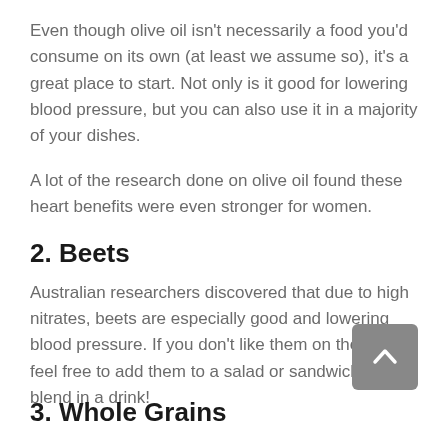Even though olive oil isn't necessarily a food you'd consume on its own (at least we assume so), it's a great place to start. Not only is it good for lowering blood pressure, but you can also use it in a majority of your dishes.
A lot of the research done on olive oil found these heart benefits were even stronger for women.
2. Beets
Australian researchers discovered that due to high nitrates, beets are especially good and lowering blood pressure. If you don't like them on their own, feel free to add them to a salad or sandwich or blend in a drink!
3. Whole Grains